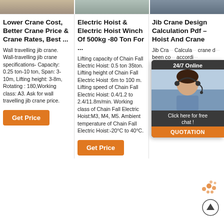[Figure (photo): Three product/crane related thumbnail images at the top]
Lower Crane Cost, Better Crane Price & Crane Rates, Best ...
Wall travelling jib crane. Wall-travelling jib crane specifications- Capacity: 0.25 ton-10 ton, Span: 3-10m, Lifting height: 3-8m, Rotating : 180,Working class: A3. Ask for wall travelling jib crane price.
Electric Hoist & Electric Hoist Winch Of 500kg -80 Ton For ...
Lifting capacity of Chain Fall Electric Hoist: 0.5 ton 35ton. Lifting height of Chain Fall Electric Hoist :6m to 100 m. Lifting speed of Chain Fall Electric Hoist: 0.4/1.2 to 2.4/11.8m/min. Working class of Chain Fall Electric Hoist:M3, M4, M5. Ambient temperature of Chain Fall Electric Hoist:-20°C to 40°C.
Jib Crane Design Calculation Pdf – Hoist And Crane
Jib Crane Design Calculation Pdf – crane design... been compiled according standard... classification... crane is... Wall mounted crane or... and having load carrying capacity of 1000kg is selected for the analysis. Here the crane was identified to be from group M5 with class of utilization 'B'...
[Figure (photo): Customer service agent with headset - 24/7 Online popup overlay with chat and quotation buttons]